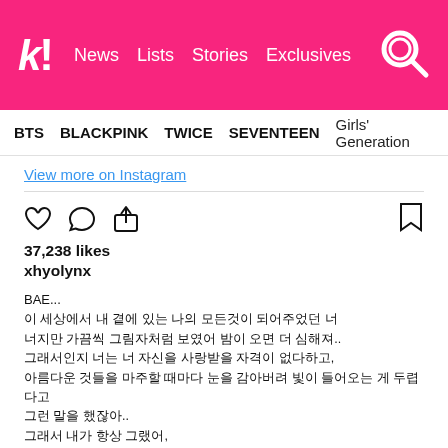k! News  Lists  Stories  Exclusives
BTS  BLACKPINK  TWICE  SEVENTEEN  Girls' Generation
View more on Instagram
37,238 likes
xhyolynx
BAE...
이 세상에서 내 곁에 있는 나의 모든것이 되어주었던 너
너지만 가끔씩 그림자처럼 보였어 밤이 오면 더 심해져..
그래서인지 너는 너 자신을 사랑받을 자격이 없다하고,
아름다운 것들을 마주할 때마다 눈을 감아버려 빛이 들어오는 게 두렵다고
그런 말을 했잖아..
그래서 내가 항상 그랬어,
사랑해 충분히 받아..맞아 더 받아도돼
너는 사랑 받 자격이 그리고 빛속에서 피어날 자격이 있어
빛 속 근 없는 어둠 속에..빛이 오 곳이라고..
치열하게게 살아..
어두운 곳, 이 세상의 어두운곳에서 피어나
넌 단 하나의, 이 세상에 단...